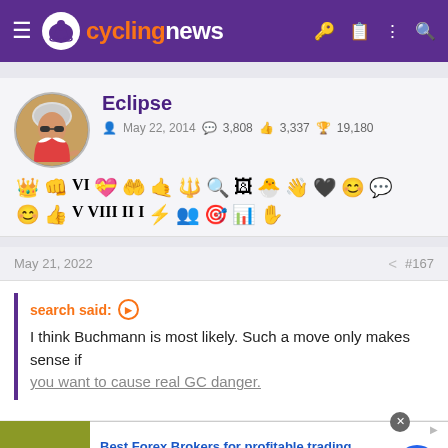cyclingnews
Eclipse
May 22, 2014  3,808  3,337  19,180
May 21, 2022  #167
search said:
I think Buchmann is most likely. Such a move only makes sense if you want to cause real GC danger.
[Figure (infographic): Forex ad banner: FR logo, Best Forex Brokers for profitable trading, Open Forex Account, receive Bonus and start earning Now, forex-ratings.com]